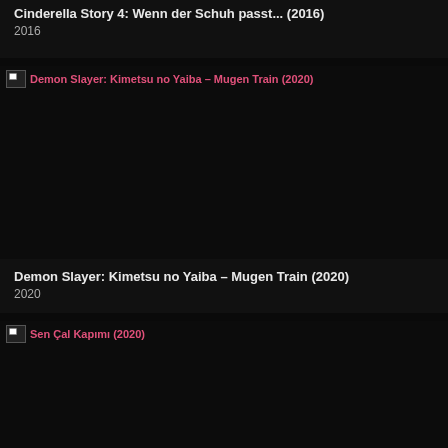Cinderella Story 4: Wenn der Schuh passt... (2016)
2016
Demon Slayer: Kimetsu no Yaiba – Mugen Train (2020)
2020
Sen Çal Kapımı (2020)
2020
Kalank (2019)